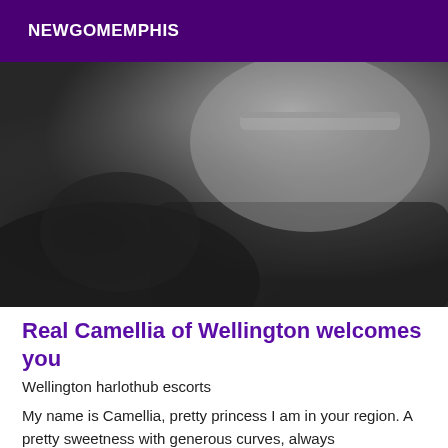NEWGOMEMPHIS
[Figure (photo): Grayscale close-up photo, dark moody tones showing partial body with a bra strap visible, dim background]
Real Camellia of Wellington welcomes you
Wellington harlothub escorts
My name is Camellia, pretty princess I am in your region. A pretty sweetness with generous curves, always